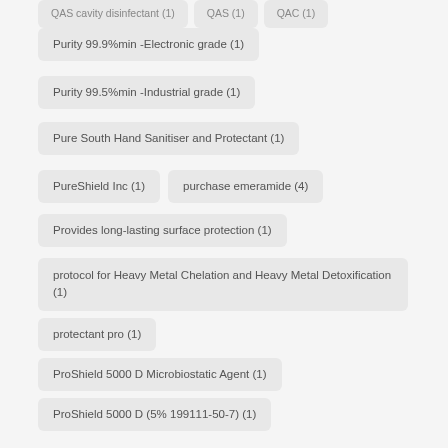Purity 99.9%min -Electronic grade (1)
Purity 99.5%min -Industrial grade (1)
Pure South Hand Sanitiser and Protectant (1)
PureShield Inc (1)
purchase emeramide (4)
Provides long-lasting surface protection (1)
protocol for Heavy Metal Chelation and Heavy Metal Detoxification (1)
protectant pro (1)
ProShield 5000 D Microbiostatic Agent (1)
ProShield 5000 D (5% 199111-50-7) (1)
Propylene Glycol Dicaprylate/Dicaprate (1)
PROLYSE 247 (1)
PRIOLY B-300D (1)